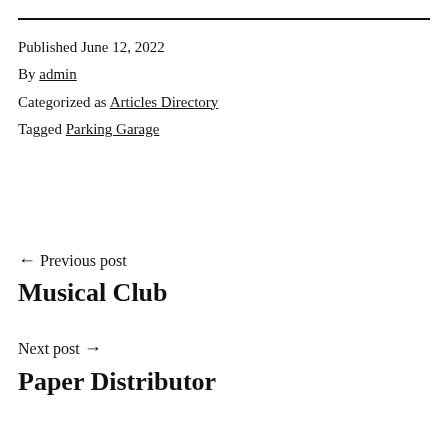Published June 12, 2022
By admin
Categorized as Articles Directory
Tagged Parking Garage
← Previous post
Musical Club
Next post →
Paper Distributor